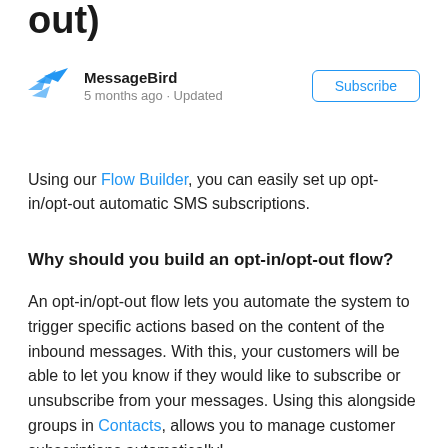out)
MessageBird
5 months ago · Updated
Using our Flow Builder, you can easily set up opt-in/opt-out automatic SMS subscriptions.
Why should you build an opt-in/opt-out flow?
An opt-in/opt-out flow lets you automate the system to trigger specific actions based on the content of the inbound messages. With this, your customers will be able to let you know if they would like to subscribe or unsubscribe from your messages. Using this alongside groups in Contacts, allows you to manage customer subscriptions automatically!